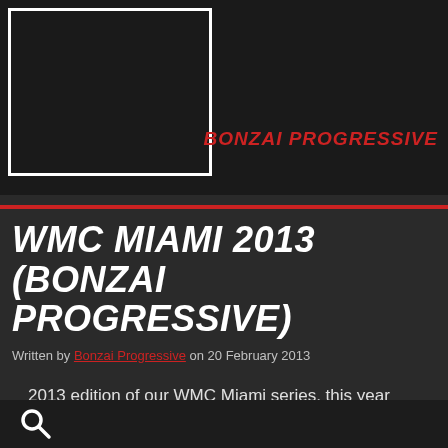[Figure (logo): Bonzai Progressive logo area: dark banner with white border box and red italic text 'BONZAI PROGRESSIVE']
WMC MIAMI 2013 (BONZAI PROGRESSIVE)
Written by Bonzai Progressive on 20 February 2013
2013 edition of our WMC Miami series, this year including original tracks and remixes by John 00 Fleming, Velvet Girl, Nancy Burrello, Tom Conrad, Andre Bonsor,Van Bellen,